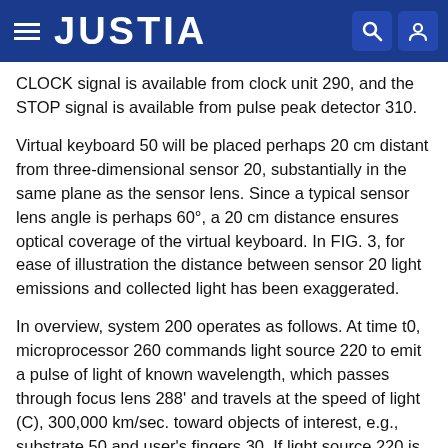JUSTIA
CLOCK signal is available from clock unit 290, and the STOP signal is available from pulse peak detector 310.
Virtual keyboard 50 will be placed perhaps 20 cm distant from three-dimensional sensor 20, substantially in the same plane as the sensor lens. Since a typical sensor lens angle is perhaps 60°, a 20 cm distance ensures optical coverage of the virtual keyboard. In FIG. 3, for ease of illustration the distance between sensor 20 light emissions and collected light has been exaggerated.
In overview, system 200 operates as follows. At time t0, microprocessor 260 commands light source 220 to emit a pulse of light of known wavelength, which passes through focus lens 288' and travels at the speed of light (C), 300,000 km/sec. toward objects of interest, e.g., substrate 50 and user's fingers 30. If light source 220 is sufficiently powerful, lens 288' may be dispensed with. At